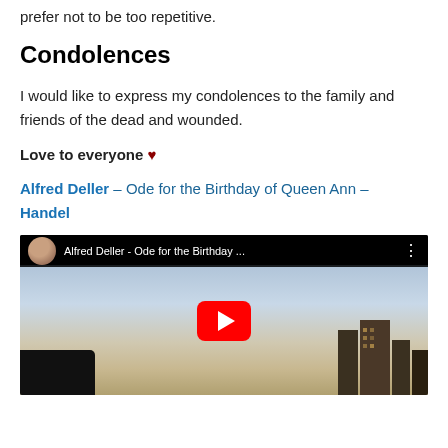prefer not to be too repetitive.
Condolences
I would like to express my condolences to the family and friends of the dead and wounded.
Love to everyone ♥
Alfred Deller – Ode for the Birthday of Queen Ann – Handel
[Figure (screenshot): YouTube video embed showing 'Alfred Deller - Ode for the Birthday ...' with a landscape background and red play button]